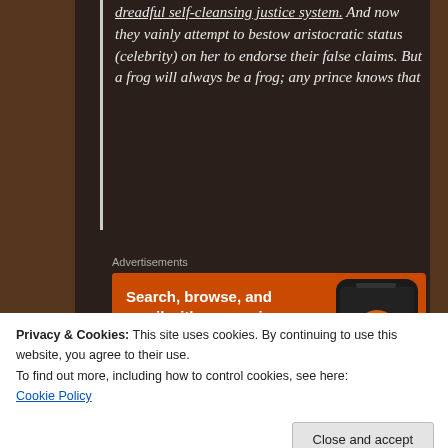dreadful self-cleansing justice system. And now they vainly attempt to bestow aristocratic status (celebrity) on her to endorse their false claims. But a frog will always be a frog; any prince knows that
[Figure (advertisement): DuckDuckGo advertisement banner on orange background with text 'Search, browse, and email with more privacy.' and 'All in One Free App' button, with phone mockup on right side]
Advertisements
Going back to basics, aside from the Epstein “operation” (and that is what it is), there runs a
Privacy & Cookies: This site uses cookies. By continuing to use this website, you agree to their use.
To find out more, including how to control cookies, see here:
Cookie Policy